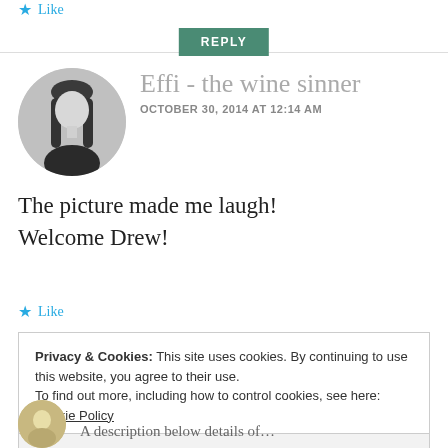★ Like
REPLY
[Figure (photo): Circular black and white avatar photo of a young woman with long dark hair and bangs, wearing a dark top]
Effi - the wine sinner
OCTOBER 30, 2014 AT 12:14 AM
The picture made me laugh! Welcome Drew!
★ Like
Privacy & Cookies: This site uses cookies. By continuing to use this website, you agree to their use.
To find out more, including how to control cookies, see here: Cookie Policy
Close and accept